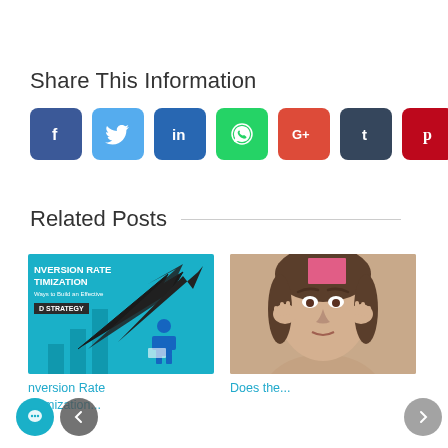Share This Information
[Figure (infographic): Row of 8 social media share buttons: Facebook (blue), Twitter (light blue), LinkedIn (dark blue), WhatsApp (green), Google+ (red), Tumblr (dark slate), Pinterest (crimson), Email (black)]
Related Posts
[Figure (infographic): Thumbnail for 'Conversion Rate Optimization' article showing teal background with bar chart, arrow and person graphic, and text 'NVERSION RATE TIMIZATION Ways to Build an Effective D STRATEGY']
nversion Rate
Otimization...
[Figure (photo): Photo of a woman with a pink sticky note on her forehead, touching her temples, thinking expression]
Does the...